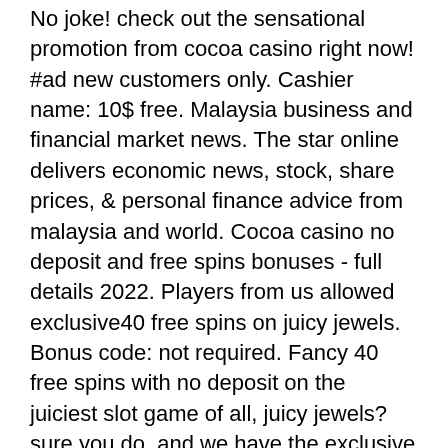No joke! check out the sensational promotion from cocoa casino right now! #ad new customers only. Cashier name: 10$ free. Malaysia business and financial market news. The star online delivers economic news, stock, share prices, &amp; personal finance advice from malaysia and world. Cocoa casino no deposit and free spins bonuses - full details 2022. Players from us allowed exclusive40 free spins on juicy jewels. Bonus code: not required. Fancy 40 free spins with no deposit on the juiciest slot game of all, juicy jewels? sure you do, and we have the exclusive bonus link. Cocoa casino no deposit bonuses 2022 ➤ exclusive 40 no deposit free spins bonus code on juicy jewels ✓ €1200 deposit bonus + 777 free spins. Of no deposit free spins simply for completing the registration. Apr 11, 2022 get $475 in no deposit bonuses free from planet 7 casino with our no deposit bonus codes! All bonus info on casino bonuses from cocoa